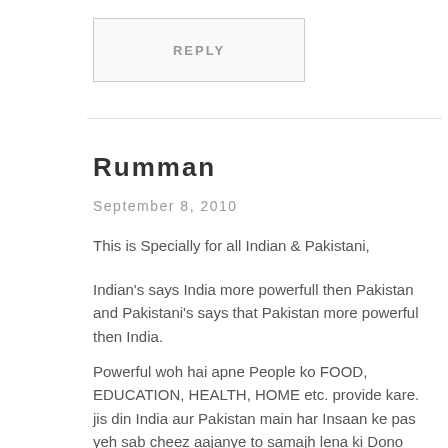REPLY
Rumman
September 8, 2010
This is Specially for all Indian & Pakistani,
Indian's says India more powerfull then Pakistan and Pakistani's says that Pakistan more powerful then India.
Powerful woh hai apne People ko FOOD, EDUCATION, HEALTH, HOME etc. provide kare. jis din India aur Pakistan main har Insaan ke pas yeh sab cheez aajanye to samajh lena ki Dono country powerful ho gayi hain.